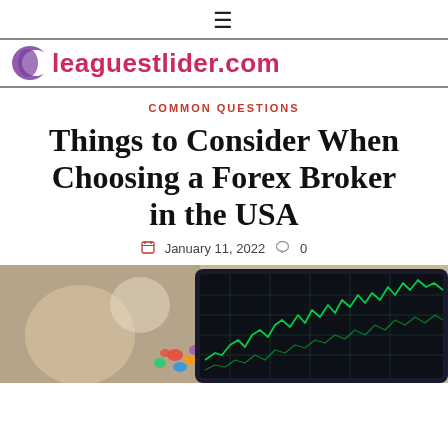≡  leaguestlider.com
COMMON QUESTIONS
Things to Consider When Choosing a Forex Broker in the USA
January 11, 2022  0
[Figure (photo): A tablet displaying a green forex trading chart with candlestick patterns, placed on a surface with colorful items in the background.]